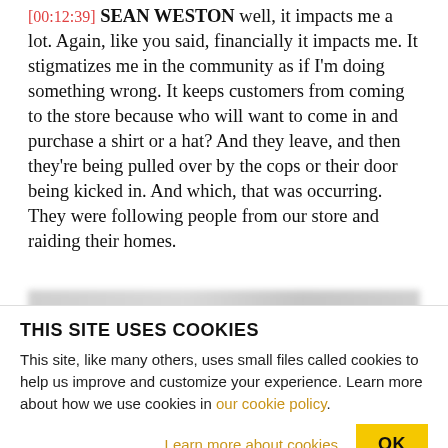[00:12:39] SEAN WESTON well, it impacts me a lot. Again, like you said, financially it impacts me. It stigmatizes me in the community as if I'm doing something wrong. It keeps customers from coming to the store because who will want to come in and purchase a shirt or a hat? And they leave, and then they're being pulled over by the cops or their door being kicked in. And which, that was occurring. They were following people from our store and raiding their homes.
THIS SITE USES COOKIES
This site, like many others, uses small files called cookies to help us improve and customize your experience. Learn more about how we use cookies in our cookie policy.
Learn more about cookies
OK